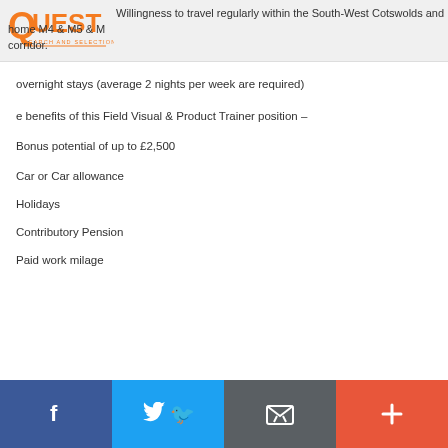Willingness to travel regularly within the South-West Cotswolds and home M4 & M5 & M corridor.
overnight stays (average 2 nights per week are required)
e benefits of this Field Visual & Product Trainer position –
Bonus potential of up to £2,500
Car or Car allowance
Holidays
Contributory Pension
Paid work milage
f  [Twitter]  [Email]  +